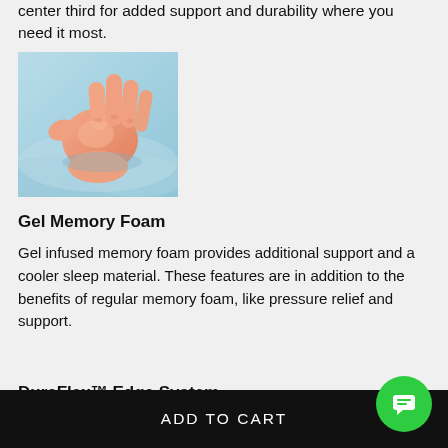center third for added support and durability where you need it most.
[Figure (photo): A hand pressing into soft light blue fabric or foam, showing the material's conforming properties.]
Gel Memory Foam
Gel infused memory foam provides additional support and a cooler sleep material. These features are in addition to the benefits of regular memory foam, like pressure relief and support.
DuraFlex™ Edge System
ADD TO CART